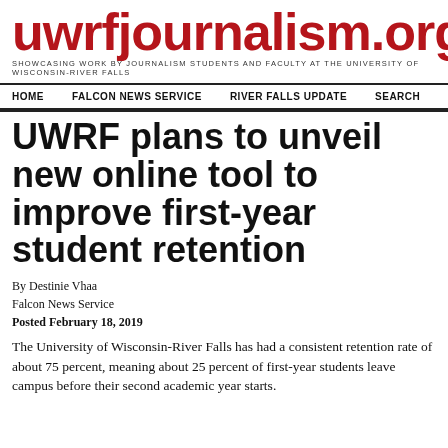uwrfjournalism.org
SHOWCASING WORK BY JOURNALISM STUDENTS AND FACULTY AT THE UNIVERSITY OF WISCONSIN-RIVER FALLS
HOME  FALCON NEWS SERVICE  RIVER FALLS UPDATE  SEARCH
UWRF plans to unveil new online tool to improve first-year student retention
By Destinie Vhaa
Falcon News Service
Posted February 18, 2019
The University of Wisconsin-River Falls has had a consistent retention rate of about 75 percent, meaning about 25 percent of first-year students leave campus before their second academic year starts.